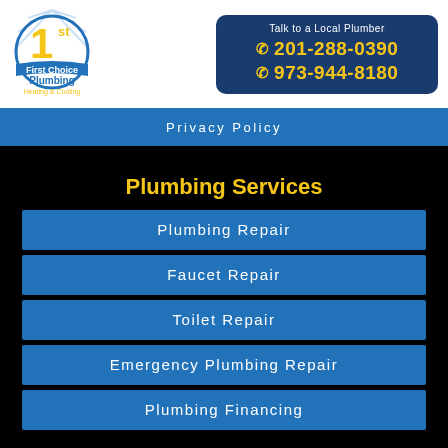[Figure (logo): First Choice Plumbing Heating & Cooling logo with '1st' in large yellow text]
Talk to a Local Plumber
201-288-0390
973-944-8180
Privacy Policy
Plumbing Services
Plumbing Repair
Faucet Repair
Toilet Repair
Emergency Plumbing Repair
Plumbing Financing